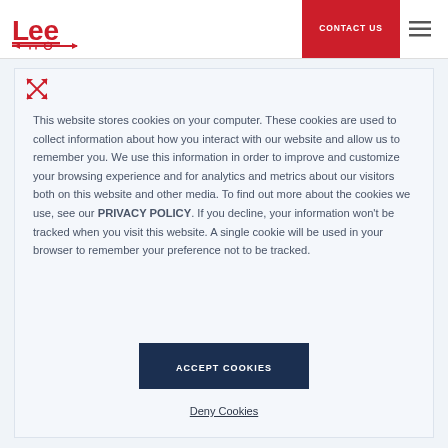[Figure (logo): Lee company logo in red with stylized text and key/arrow symbol]
CONTACT US
[Figure (other): Hamburger menu icon (three horizontal lines)]
[Figure (other): Close/expand icon with red X arrows in top-left of cookie modal]
This website stores cookies on your computer. These cookies are used to collect information about how you interact with our website and allow us to remember you. We use this information in order to improve and customize your browsing experience and for analytics and metrics about our visitors both on this website and other media. To find out more about the cookies we use, see our PRIVACY POLICY. If you decline, your information won't be tracked when you visit this website. A single cookie will be used in your browser to remember your preference not to be tracked.
ACCEPT COOKIES
Deny Cookies